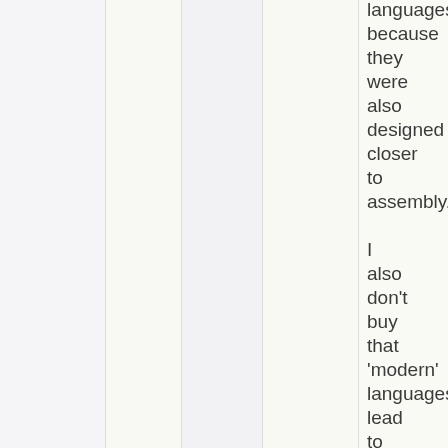languages, because they were also designed closer to assembly. I also don't buy that 'modern' languages lead to faster productivity.